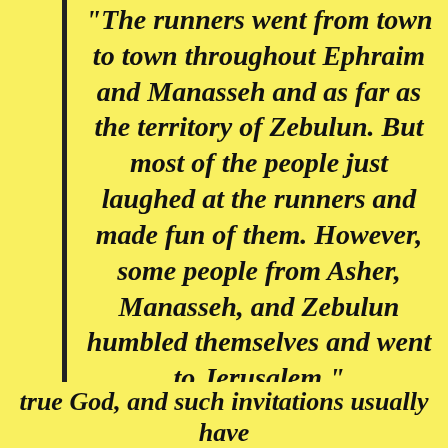“The runners went from town to town throughout Ephraim and Manasseh and as far as the territory of Zebulun. But most of the people just laughed at the runners and made fun of them. However, some people from Asher, Manasseh, and Zebulun humbled themselves and went to Jerusalem.”
[Figure (screenshot): Jetpack advertisement banner with green background, Jetpack logo on left and 'Secure Your Site' button on right]
Privacy & Cookies: This site uses cookies. By continuing to use this website, you agree to their use.
To find out more, including how to control cookies, see here:
Cookie Policy
Close and accept
true God, and such invitations usually have